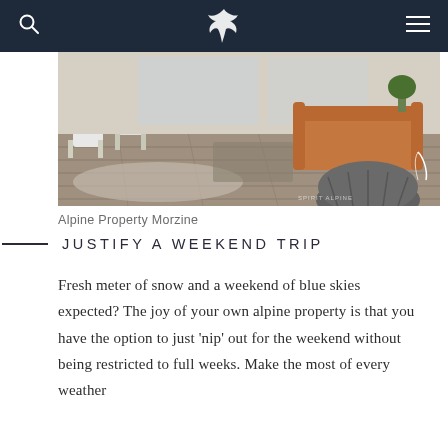Alpine Property Morzine — navigation bar with search and menu icons
[Figure (photo): Interior photo of a modern living room with hardwood/vinyl flooring, white chairs, a leather sofa, and a knitted pouf ottoman. Spirit Alpine watermark visible.]
Alpine Property Morzine
JUSTIFY A WEEKEND TRIP
Fresh meter of snow and a weekend of blue skies expected? The joy of your own alpine property is that you have the option to just 'nip' out for the weekend without being restricted to full weeks. Make the most of every weather